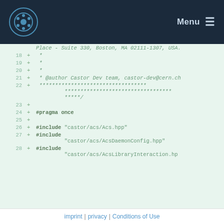Menu
Place - Suite 330, Boston, MA 02111-1307, USA.
18 + *
19 + *
20 + *
21 + * @author Castor Dev team, castor-dev@cern.ch
22 + ******************************************
23 +
24 + #pragma once
25 +
26 + #include "castor/acs/Acs.hpp"
27 + #include "castor/acs/AcsDaemonConfig.hpp"
28 + #include "castor/acs/AcsLibraryInteraction.hp
imprint | privacy | Conditions of Use